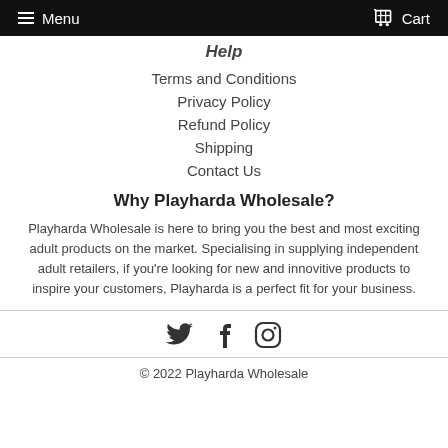Menu   Cart
Help
Terms and Conditions
Privacy Policy
Refund Policy
Shipping
Contact Us
Why Playharda Wholesale?
Playharda Wholesale is here to bring you the best and most exciting adult products on the market. Specialising in supplying independent adult retailers, if you're looking for new and innovitive products to inspire your customers, Playharda is a perfect fit for your business.
[Figure (other): Social media icons: Twitter bird, Facebook F, Instagram camera]
© 2022 Playharda Wholesale